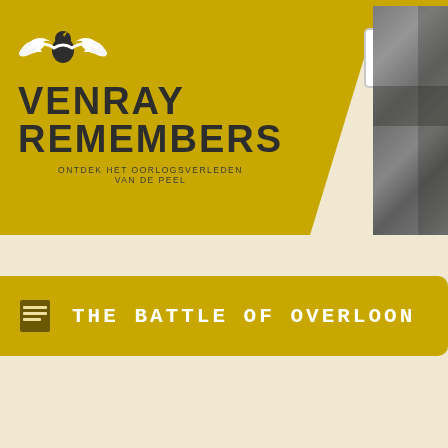[Figure (logo): Venray Remembers logo on golden/mustard yellow trapezoid background with bird/wings icon, text VENRAY REMEMBERS and tagline ONTDEK HET OORLOGSVERLEDEN VAN DE PEEL]
[Figure (photo): Black and white historical photograph strip showing wartime scene]
THE BATTLE OF OVERLOON